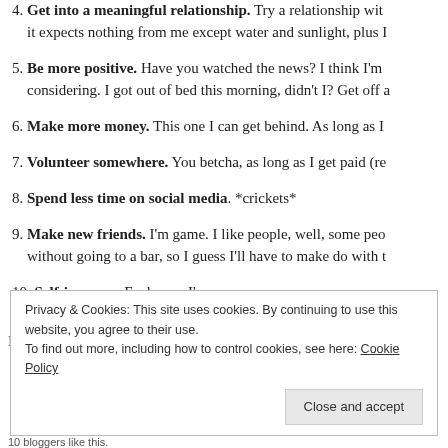4. Get into a meaningful relationship. Try a relationship with it expects nothing from me except water and sunlight, plus I
5. Be more positive. Have you watched the news? I think I'm considering. I got out of bed this morning, didn't I? Get off a
6. Make more money. This one I can get behind. As long as I
7. Volunteer somewhere. You betcha, as long as I get paid (re
8. Spend less time on social media. *crickets*
9. Make new friends. I'm game. I like people, well, some peo without going to a bar, so I guess I'll have to make do with t
10. Self-improve. Fuck you, I'm awesome.
I hope you find this helpful.
Privacy & Cookies: This site uses cookies. By continuing to use this website, you agree to their use. To find out more, including how to control cookies, see here: Cookie Policy
10 bloggers like this.